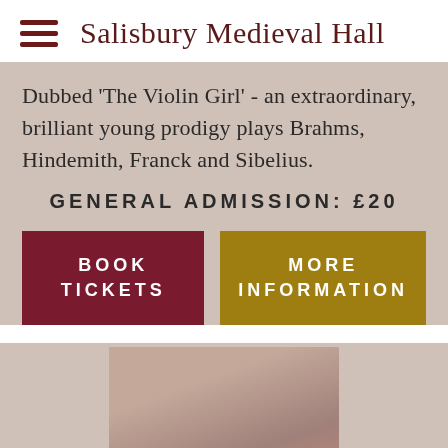Salisbury Medieval Hall
Dubbed 'The Violin Girl' - an extraordinary, brilliant young prodigy plays Brahms, Hindemith, Franck and Sibelius.
GENERAL ADMISSION: £20
BOOK TICKETS
MORE INFORMATION
[Figure (photo): A photograph of a young female violinist in a pink/red outfit, partially visible at the bottom of the page.]